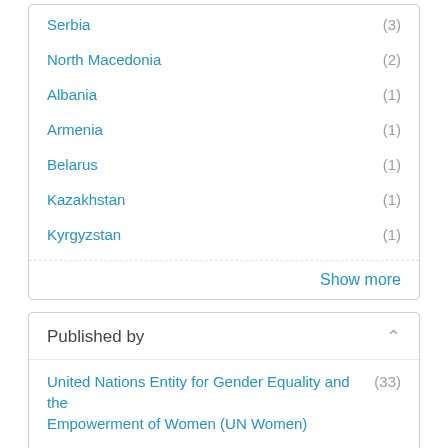Serbia (3)
North Macedonia (2)
Albania (1)
Armenia (1)
Belarus (1)
Kazakhstan (1)
Kyrgyzstan (1)
Show more
Published by
United Nations Entity for Gender Equality and the Empowerment of Women (UN Women) (33)
Food and Agriculture Organization (FAO) (2)
United Nations Development Programme (UNDP) (2)
External (1)
International Labour Organization (ILO) (1)
United Nations Secretariat (1)